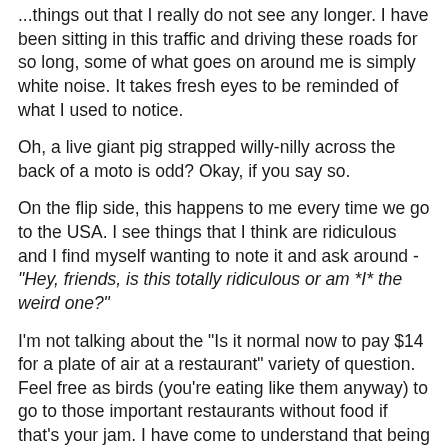...things out that I really do not see any longer. I have been sitting in this traffic and driving these roads for so long, some of what goes on around me is simply white noise. It takes fresh eyes to be reminded of what I used to notice.
Oh, a live giant pig strapped willy-nilly across the back of a moto is odd? Okay, if you say so.
On the flip side, this happens to me every time we go to the USA. I see things that I think are ridiculous and I find myself wanting to note it and ask around - "Hey, friends, is this totally ridiculous or am *I* the weird one?"
I'm not talking about the "Is it normal now to pay $14 for a plate of air at a restaurant" variety of question. Feel free as birds (you're eating like them anyway) to go to those important restaurants without food if that's your jam. I have come to understand that being hungry and paying a lot for it is cool in your land. In Haiti, it's not cool to be hungry and folks can be hungry without spending the fourteen bucks. I promise, I am not talking about that again. Today I am on to other things.